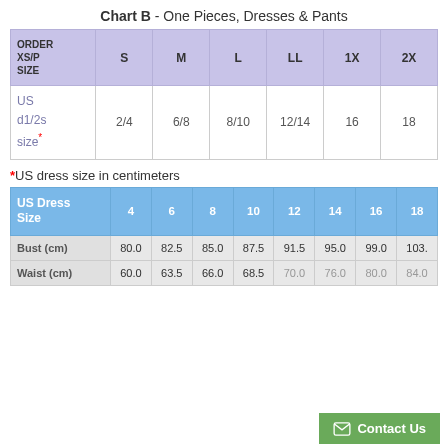Chart B - One Pieces, Dresses & Pants
| ORDER XS/P SIZE | S | M | L | LL | 1X | 2X |
| --- | --- | --- | --- | --- | --- | --- |
| US dress size* | 2/4 | 6/8 | 8/10 | 12/14 | 16 | 18 |
*US dress size in centimeters
| US Dress Size | 4 | 6 | 8 | 10 | 12 | 14 | 16 | 18 |
| --- | --- | --- | --- | --- | --- | --- | --- | --- |
| Bust (cm) | 80.0 | 82.5 | 85.0 | 87.5 | 91.5 | 95.0 | 99.0 | 103. |
| Waist (cm) | 60.0 | 63.5 | 66.0 | 68.5 | 70.0 | 76.0 | 80.0 | 84.0 |